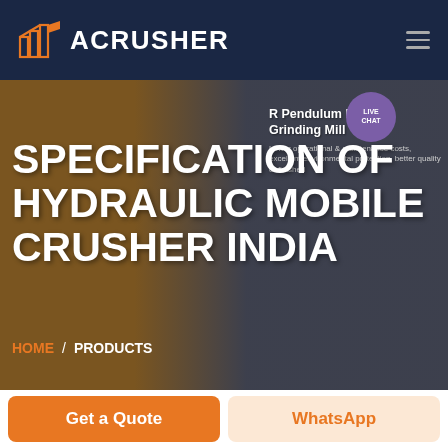ACRUSHER
SPECIFICATION OF HYDRAULIC MOBILE CRUSHER INDIA
R Pendulum Roller Grinding Mill
Lower operational & maintenance costs, excellent environmental protection, better quality of finished
LIVE CHAT
HOME / PRODUCTS
Get a Quote
WhatsApp